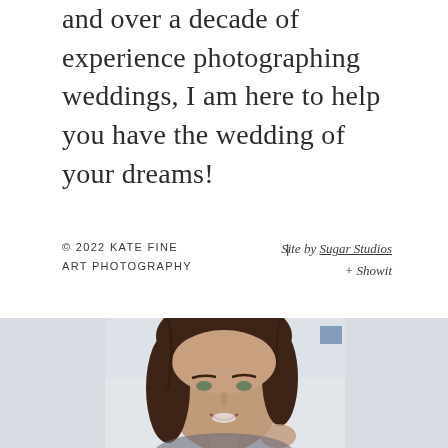and over a decade of experience photographing weddings, I am here to help you have the wedding of your dreams!
© 2022 KATE FINE ART PHOTOGRAPHY  |  Site by Sugar Studios + Showit
[Figure (photo): Portrait photograph of a smiling woman with dark brown hair, looking slightly upward, bright background]